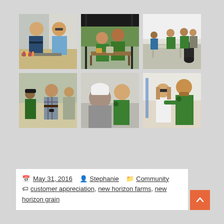[Figure (photo): Six photographs arranged in a 3x2 grid showing an outdoor customer appreciation event for New Horizon Farms/Grain. Photos show people in green shirts serving food, grilling, socializing, and posing at what appears to be a barbecue event.]
May 31, 2016  Stephanie  Community  customer appreciation, new horizon farms, new horizon grain